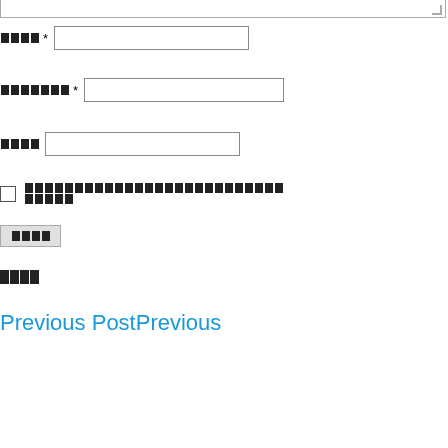[Figure (screenshot): Top portion of a web comment/contact form showing a textarea (partially visible at top), followed by form fields with Japanese placeholder label blocks for name, email/website fields with asterisks indicating required fields, a URL field, a checkbox with Japanese text, a submit button with Japanese label blocks, a section heading with Japanese label blocks, and a navigation link 'Previous PostPrevious' in blue.]
□□□ * [text input field]
□□□□□□□ * [text input field]
□□□□ [text input field]
☐ □□□□□□□□□□□□□□□□□□□□□□□□□□□□□□□
□□□□ [Submit button]
□□□□
Previous PostPrevious